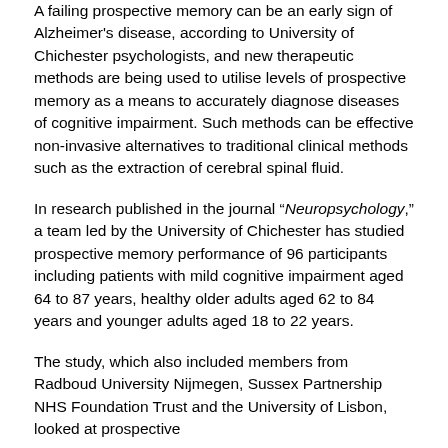A failing prospective memory can be an early sign of Alzheimer's disease, according to University of Chichester psychologists, and new therapeutic methods are being used to utilise levels of prospective memory as a means to accurately diagnose diseases of cognitive impairment. Such methods can be effective non-invasive alternatives to traditional clinical methods such as the extraction of cerebral spinal fluid.
In research published in the journal “Neuropsychology,” a team led by the University of Chichester has studied prospective memory performance of 96 participants including patients with mild cognitive impairment aged 64 to 87 years, healthy older adults aged 62 to 84 years and younger adults aged 18 to 22 years.
The study, which also included members from Radboud University Nijmegen, Sussex Partnership NHS Foundation Trust and the University of Lisbon, looked at prospective